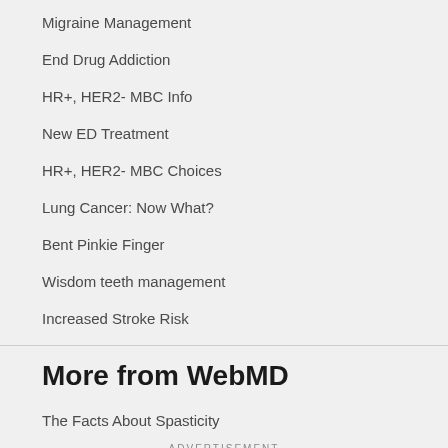Migraine Management
End Drug Addiction
HR+, HER2- MBC Info
New ED Treatment
HR+, HER2- MBC Choices
Lung Cancer: Now What?
Bent Pinkie Finger
Wisdom teeth management
Increased Stroke Risk
More from WebMD
The Facts About Spasticity
ADVERTISEMENT
[Figure (other): Advertisement banner: We Work Tirelessly To Ensure Your Home Remains a Happy Place]